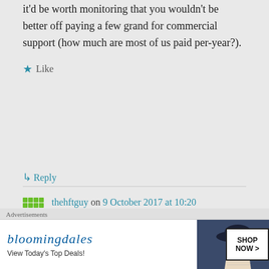it'd be worth monitoring that you wouldn't be better off paying a few grand for commercial support (how much are most of us paid per-year?).
★ Like
↳ Reply
thehftguy on 9 October 2017 at 10:20
[Figure (other): Bloomingdales advertisement banner: 'View Today's Top Deals!' with 'SHOP NOW >' button and image of woman in hat]
Advertisements